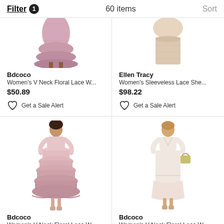Filter 1   60 items   Sort
[Figure (photo): Partial view of a woman wearing a pink/mauve floral lace dress, cropped at top showing lower body and brown boots - Bdcoco brand]
Bdcoco
Women's V Neck Floral Lace W...
$50.89
Get a Sale Alert
[Figure (photo): Partial view of a woman wearing a beige/cream lace sheath dress, cropped at top showing upper body - Ellen Tracy brand]
Ellen Tracy
Women's Sleeveless Lace She...
$98.22
Get a Sale Alert
[Figure (photo): Full body photo of a woman wearing a light pink V-neck floral lace tiered midi dress with short sleeves - Bdcoco brand]
Bdcoco
Women's V Neck Floral Lace W...
$50.89
[Figure (photo): Full body photo of a woman wearing a light cream/white V-neck floral lace midi dress with short sleeves and carrying a bag - Bdcoco brand]
Bdcoco
Women's V Neck Floral Lace W...
$50.89